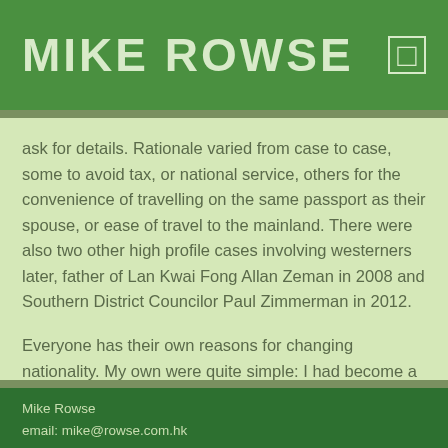MIKE ROWSE
ask for details. Rationale varied from case to case, some to avoid tax, or national service, others for the convenience of travelling on the same passport as their spouse, or ease of travel to the mainland. There were also two other high profile cases involving westerners later, father of Lan Kwai Fong Allan Zeman in 2008 and Southern District Councilor Paul Zimmerman in 2012.
Everyone has their own reasons for changing nationality. My own were quite simple: I had become a Hong Kong person. I first came here in 1972 and after some early months in the private sector, including a spell as a journalist, spent 34 years
Mike Rowse
email: mike@rowse.com.hk